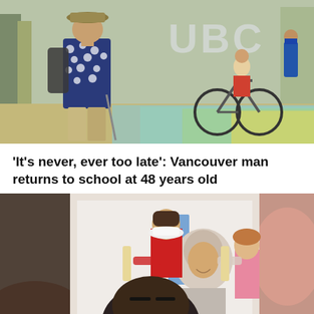[Figure (photo): A man wearing a floral shirt, hat, and backpack walking near UBC campus sign. A cyclist is visible in the background. Colorful crosswalk visible on the right.]
'It's never, ever too late': Vancouver man returns to school at 48 years old
[Figure (photo): A man takes a selfie with his family - a woman in a hijab, a boy in a red shirt, a girl in a pink dress, and another child visible. Indoor setting.]